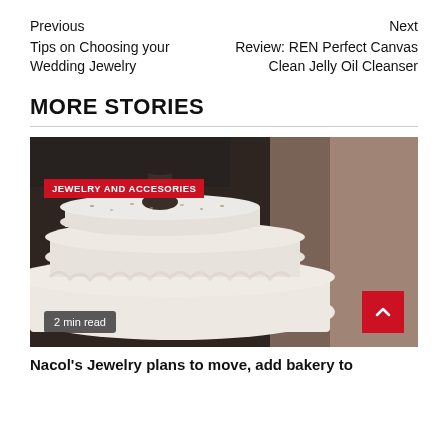Previous
Tips on Choosing your Wedding Jewelry
Next
Review: REN Perfect Canvas Clean Jelly Oil Cleanser
MORE STORIES
[Figure (photo): A white frosted wedding cake with a dark background and a person visible to the right. Red badge overlay reading 'JEWELRY AND ACCESORIES'. Bottom-left badge reading '2 min read'. Bottom-right red scroll-up button with chevron arrow.]
Nacol's Jewelry plans to move, add bakery to